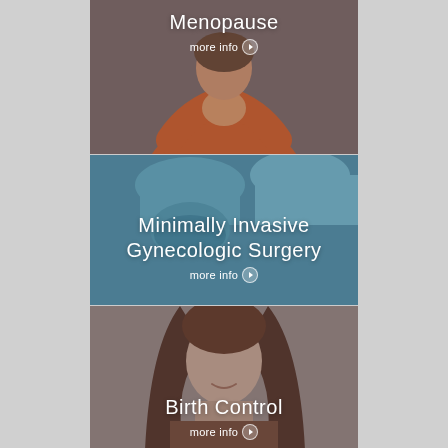[Figure (photo): Woman in orange top sitting with hands clasped together near her face, looking distressed. Card with title 'Menopause' and 'more info' link overlaid.]
[Figure (photo): Medical professional in surgical scrubs and mask looking downward. Card with title 'Minimally Invasive Gynecologic Surgery' and 'more info' link overlaid.]
[Figure (photo): Young woman with long hair, slight smile. Card with title 'Birth Control' and 'more info' link overlaid.]